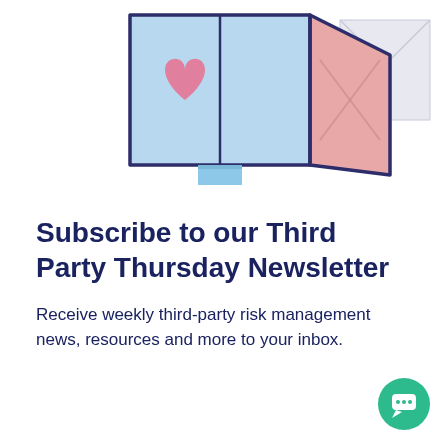[Figure (illustration): Isometric illustration of a mailbox/inbox with light blue and pink panels, dark navy outline, a heart-shaped element, and envelope, suggesting email newsletter subscription]
Subscribe to our Third Party Thursday Newsletter
Receive weekly third-party risk management news, resources and more to your inbox.
[Figure (other): Teal/green circular chat support button with a speech bubble icon]